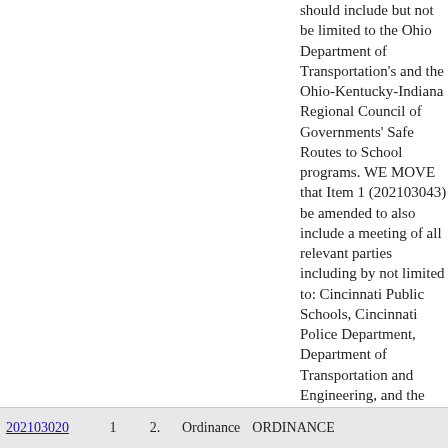should include but not be limited to the Ohio Department of Transportation's and the Ohio-Kentucky-Indiana Regional Council of Governments' Safe Routes to School programs. WE MOVE that Item 1 (202103043) be amended to also include a meeting of all relevant parties including by not limited to: Cincinnati Public Schools, Cincinnati Police Department, Department of Transportation and Engineering, and the relevant Community Councils. (STATEMENT ATTACHED)
|  |  |  |  |  |
| --- | --- | --- | --- | --- |
| 202103020 | 1 | 2. | Ordinance | ORDINANCE |